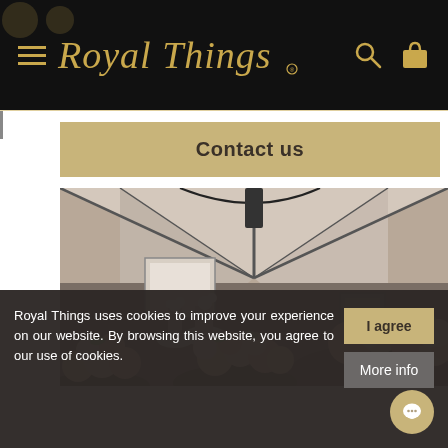Royal Things
Contact us
[Figure (photo): Interior room with vaulted ceiling and large floral arrangements of pink and cream roses on a dark surface, with artwork and pictures visible on the wall in the background.]
Royal Things uses cookies to improve your experience on our website. By browsing this website, you agree to our use of cookies.